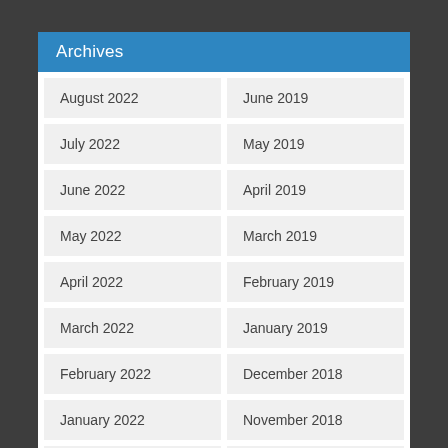Archives
August 2022
June 2019
July 2022
May 2019
June 2022
April 2019
May 2022
March 2019
April 2022
February 2019
March 2022
January 2019
February 2022
December 2018
January 2022
November 2018
December 2021
October 2018